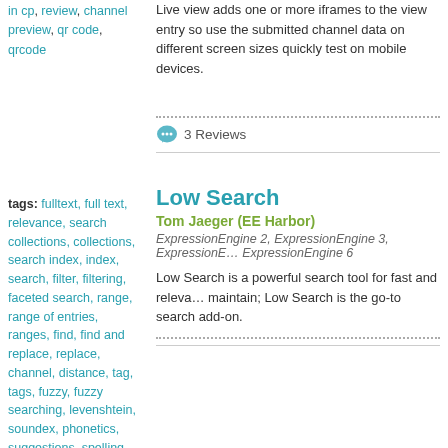in cp, review, channel preview, qr code, qrcode
Live view adds one or more iframes to the view entry so use the submitted channel data on different screen sizes quickly test on mobile devices.
3 Reviews
tags: fulltext, full text, relevance, search collections, collections, search index, index, search, filter, filtering, faceted search, range, range of entries, ranges, find, find and replace, replace, channel, distance, tag, tags, fuzzy, fuzzy searching, levenshtein, soundex, phonetics, suggestions, spelling
Low Search
Tom Jaeger (EE Harbor)
ExpressionEngine 2, ExpressionEngine 3, ExpressionEngine 6
Low Search is a powerful search tool for fast and relevant results, easy to maintain; Low Search is the go-to search add-on.